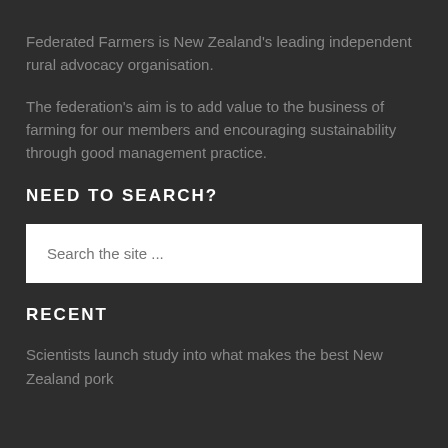Federated Farmers is New Zealand's leading independent rural advocacy organisation.
The federation's aim is to add value to the business of farming for our members and encouraging sustainability through good management practice.
NEED TO SEARCH?
Search the site ...
RECENT
Scientists launch study into what makes the best New Zealand pork